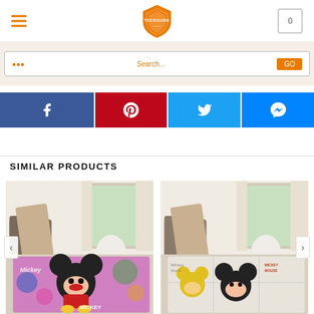[Figure (logo): TeesGuide orange shield logo with text in center of header]
[Figure (screenshot): Search bar with orange text and orange search button]
[Figure (infographic): Social share buttons: Facebook (blue), Pinterest (red), Twitter (light blue), Messenger (blue)]
SIMILAR PRODUCTS
[Figure (photo): Mickey Mouse colorful rug product photo in a room setting]
[Figure (photo): Mickey Mouse comic-style gray rug product photo in a room setting]